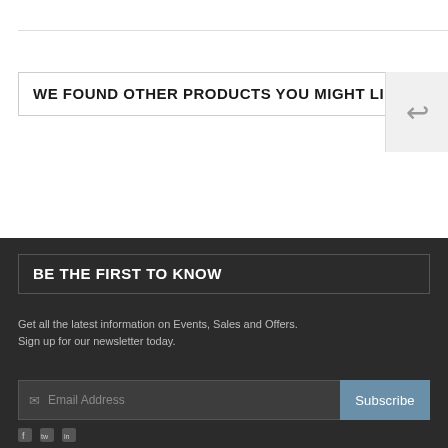WE FOUND OTHER PRODUCTS YOU MIGHT LIKE!
BE THE FIRST TO KNOW
Get all the latest information on Events, Sales and Offers. Sign up for our newsletter today.
Email Address  Subscribe